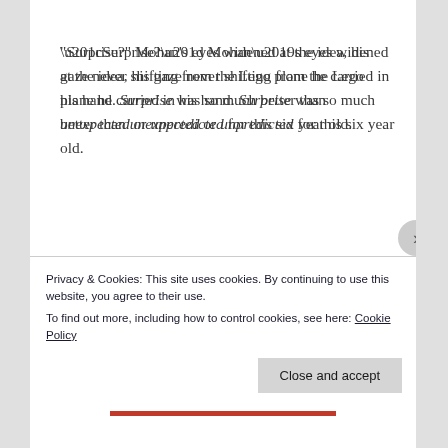“Surprise?” Mohan’s eyes widened at the idea, his gaze never shifting from the Lego plane he carried in his hand. Surprise was so much better than unexpected or unpredicted for this six year old.
Gently squeezing his son, Arnav smiled and repeated. “Yes. Surprise it is.” Setting him down,
Privacy & Cookies: This site uses cookies. By continuing to use this website, you agree to their use.
To find out more, including how to control cookies, see here: Cookie Policy
Close and accept